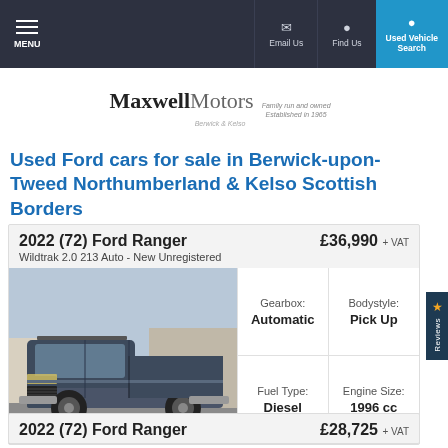MENU | Email Us | Find Us | Used Vehicle Search
[Figure (logo): Maxwell Motors logo — Family run and owned, Established in 1965, Berwick & Kelso]
Used Ford cars for sale in Berwick-upon-Tweed Northumberland & Kelso Scottish Borders
2022 (72) Ford Ranger | £36,990 + VAT | Wildtrak 2.0 213 Auto - New Unregistered
[Figure (photo): Photo of a dark grey Ford Ranger Wildtrak pickup truck parked outside a building]
| Gearbox: | Bodystyle: |
| --- | --- |
| Automatic | Pick Up |
| Fuel Type: | Engine Size: |
| Diesel | 1996 cc |
2022 (72) Ford Ranger | £28,725 + VAT